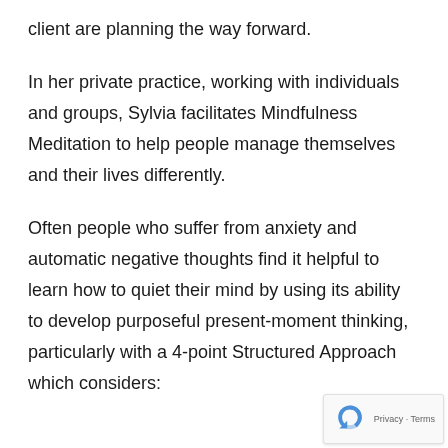client are planning the way forward.
In her private practice, working with individuals and groups, Sylvia facilitates Mindfulness Meditation to help people manage themselves and their lives differently.
Often people who suffer from anxiety and automatic negative thoughts find it helpful to learn how to quiet their mind by using its ability to develop purposeful present-moment thinking, particularly with a 4-point Structured Approach which considers: